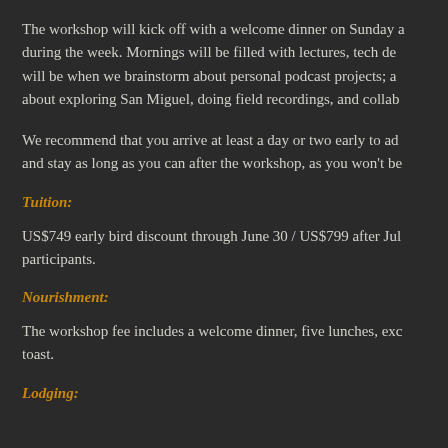The workshop will kick off with a welcome dinner on Sunday a... during the week. Mornings will be filled with lectures, tech de... will be when we brainstorm about personal podcast projects; a... about exploring San Miguel, doing field recordings, and collab...
We recommend that you arrive at least a day or two early to ad... and stay as long as you can after the workshop, as you won't be...
Tuition:
US$749 early bird discount through June 30 / US$799 after Jul... participants.
Nourishment:
The workshop fee includes a welcome dinner, five lunches, exc... toast.
Lodging: